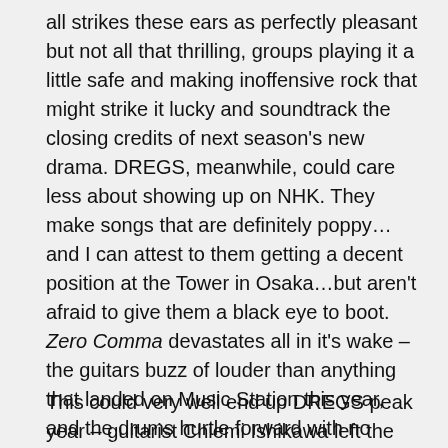all strikes these ears as perfectly pleasant but not all that thrilling, groups playing it a little safe and making inoffensive rock that might strike it lucky and soundtrack the closing credits of next season's new drama. DREGS, meanwhile, could care less about showing up on NHK. They make songs that are definitely poppy…and I can attest to them getting a decent position at the Tower in Osaka…but aren't afraid to give them a black eye to boot. Zero Comma devastates all in it's wake – the guitars buzz of louder than anything that landed on Music Station this year, and the drums hurtle forward with no mercy. I've got nothing against ORANGE RANGE but it's sort of a mockery their newest single sits so close to the DREGS' display.
This could very well end up DREGS peak year – guitarist Chiemi Ishikawa left the group late this year for medical